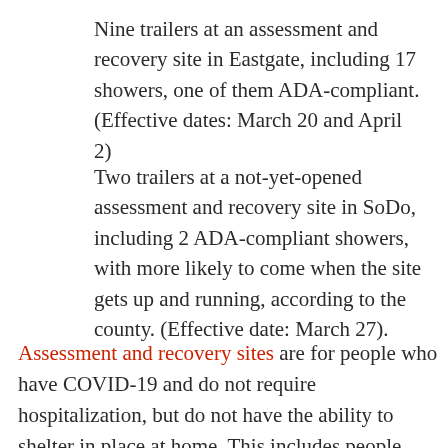Nine trailers at an assessment and recovery site in Eastgate, including 17 showers, one of them ADA-compliant. (Effective dates: March 20 and April 2)
Two trailers at a not-yet-opened assessment and recovery site in SoDo, including 2 ADA-compliant showers, with more likely to come when the site gets up and running, according to the county. (Effective date: March 27).
Assessment and recovery sites are for people who have COVID-19 and do not require hospitalization, but do not have the ability to shelter in place at home. This includes people experiencing